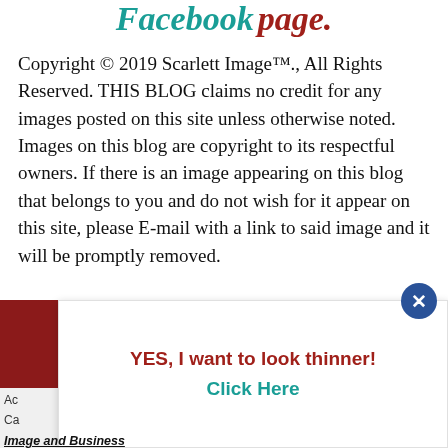Facebook page.
Copyright © 2019 Scarlett Image™., All Rights Reserved. THIS BLOG claims no credit for any images posted on this site unless otherwise noted. Images on this blog are copyright to its respectful owners. If there is an image appearing on this blog that belongs to you and do not wish for it appear on this site, please E-mail with a link to said image and it will be promptly removed.
[Figure (screenshot): Popup overlay with dark red block on left, close button (X in dark blue circle), bold red text 'YES, I want to look thinner!' and teal text 'Click Here'. Partially visible sidebar text 'Ac' and 'Ca' on the left.]